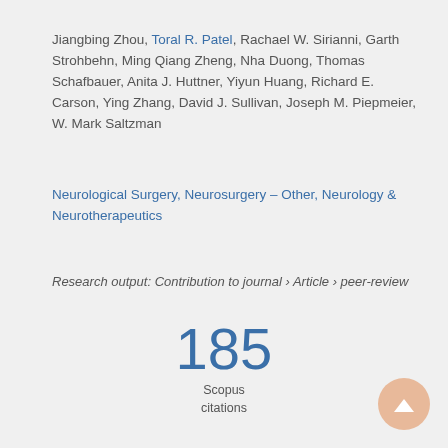Jiangbing Zhou, Toral R. Patel, Rachael W. Sirianni, Garth Strohbehn, Ming Qiang Zheng, Nha Duong, Thomas Schafbauer, Anita J. Huttner, Yiyun Huang, Richard E. Carson, Ying Zhang, David J. Sullivan, Joseph M. Piepmeier, W. Mark Saltzman
Neurological Surgery, Neurosurgery - Other, Neurology & Neurotherapeutics
Research output: Contribution to journal › Article › peer-review
185 Scopus citations